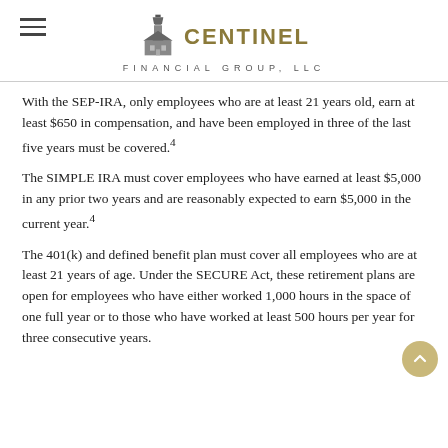Centinel Financial Group, LLC
With the SEP-IRA, only employees who are at least 21 years old, earn at least $650 in compensation, and have been employed in three of the last five years must be covered.4
The SIMPLE IRA must cover employees who have earned at least $5,000 in any prior two years and are reasonably expected to earn $5,000 in the current year.4
The 401(k) and defined benefit plan must cover all employees who are at least 21 years of age. Under the SECURE Act, these retirement plans are open for employees who have either worked 1,000 hours in the space of one full year or to those who have worked at least 500 hours per year for three consecutive years.